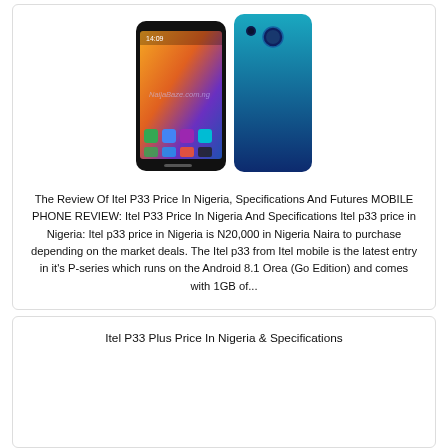[Figure (photo): Itel P33 smartphone showing front screen with colorful wallpaper and app icons, alongside the blue back of the device]
The Review Of Itel P33 Price In Nigeria, Specifications And Futures MOBILE PHONE REVIEW: Itel P33 Price In Nigeria And Specifications Itel p33 price in Nigeria: Itel p33 price in Nigeria is N20,000 in Nigeria Naira to purchase depending on the market deals. The Itel p33 from Itel mobile is the latest entry in it's P-series which runs on the Android 8.1 Orea (Go Edition) and comes with 1GB of...
Itel P33 Plus Price In Nigeria & Specifications